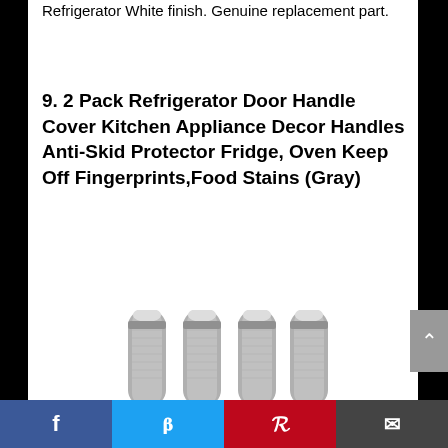Refrigerator White finish. Genuine replacement part.
9. 2 Pack Refrigerator Door Handle Cover Kitchen Appliance Decor Handles Anti-Skid Protector Fridge, Oven Keep Off Fingerprints,Food Stains (Gray)
[Figure (photo): Four gray fabric refrigerator door handle covers shown standing upright, displaying their textile texture and end caps]
Facebook Twitter Pinterest Email social sharing bar